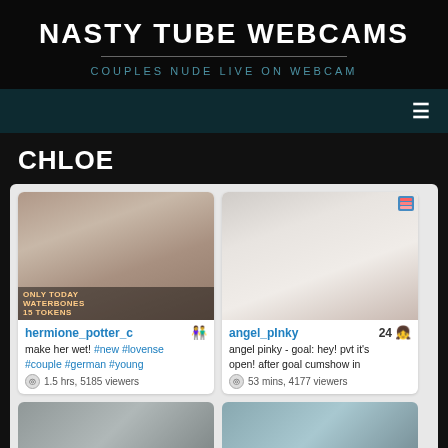NASTY TUBE WEBCAMS
COUPLES NUDE LIVE ON WEBCAM
≡
CHLOE
[Figure (screenshot): Webcam thumbnail for hermione_potter_c]
hermione_potter_c
make her wet! #new #lovense #couple #german #young
1.5 hrs, 5185 viewers
[Figure (screenshot): Webcam thumbnail for angel_pInky]
angel_pInky  24
angel pinky - goal: hey! pvt it's open! after goal cumshow in
53 mins, 4177 viewers